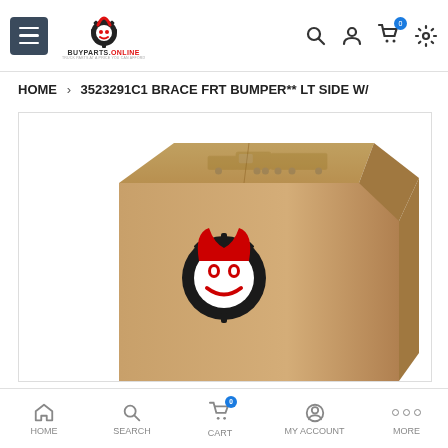BUYPARTS.ONLINE — navigation header with hamburger menu, logo, search, account, cart, and settings icons
HOME > 3523291C1 BRACE FRT BUMPER** LT SIDE W/
[Figure (photo): Product image showing a cardboard shipping box with the BuyParts.Online logo (a red horned gear-devil emblem) printed on the front, and a faint truck graphic on the top flap]
HOME    SEARCH    CART    MY ACCOUNT    MORE